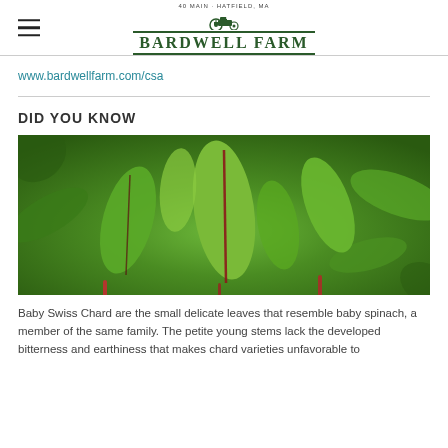BARDWELL FARM
www.bardwellfarm.com/csa
DID YOU KNOW
[Figure (photo): Close-up photograph of baby Swiss chard leaves, showing small green leaves with red stems against a blurred green background.]
Baby Swiss Chard are the small delicate leaves that resemble baby spinach, a member of the same family. The petite young stems lack the developed bitterness and earthiness that makes chard varieties unfavorable to